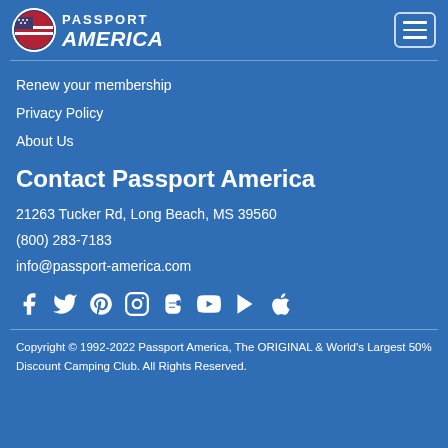[Figure (logo): Passport America logo with US flag circle icon and italic text 'Passport America']
Renew your membership
Privacy Policy
About Us
Contact Passport America
21263 Tucker Rd, Long Beach, MS 39560
(800) 283-7183
info@passport-america.com
[Figure (illustration): Social media icons row: Facebook, Twitter, Pinterest, Instagram, Blogger, YouTube, Google Play, Apple]
Copyright © 1992-2022 Passport America, The ORIGINAL & World's Largest 50% Discount Camping Club. All Rights Reserved.